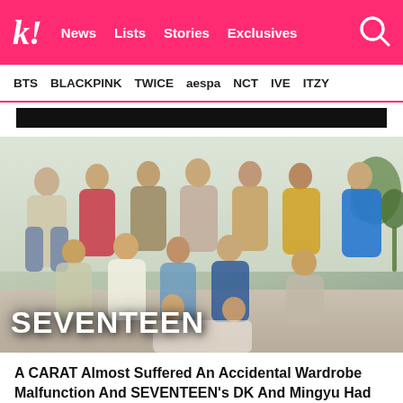k! News  Lists  Stories  Exclusives
BTS  BLACKPINK  TWICE  aespa  NCT  IVE  ITZY
[Figure (photo): Group photo of SEVENTEEN K-pop group members posed together in a bright indoor setting with plants. Text overlay reads SEVENTEEN in large white bold font.]
A CARAT Almost Suffered An Accidental Wardrobe Malfunction And SEVENTEEN's DK And Mingyu Had The